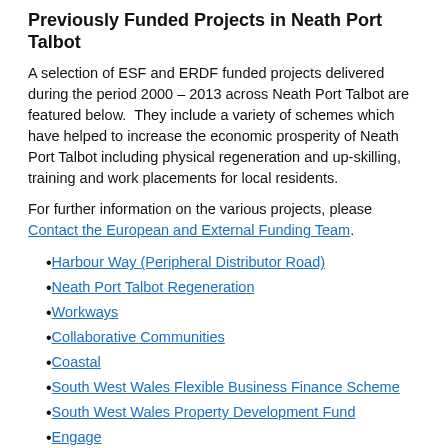Previously Funded Projects in Neath Port Talbot
A selection of ESF and ERDF funded projects delivered during the period 2000 – 2013 across Neath Port Talbot are featured below.  They include a variety of schemes which have helped to increase the economic prosperity of Neath Port Talbot including physical regeneration and up-skilling, training and work placements for local residents.
For further information on the various projects, please Contact the European and External Funding Team.
Harbour Way (Peripheral Distributor Road)
Neath Port Talbot Regeneration
Workways
Collaborative Communities
Coastal
South West Wales Flexible Business Finance Scheme
South West Wales Property Development Fund
Engage